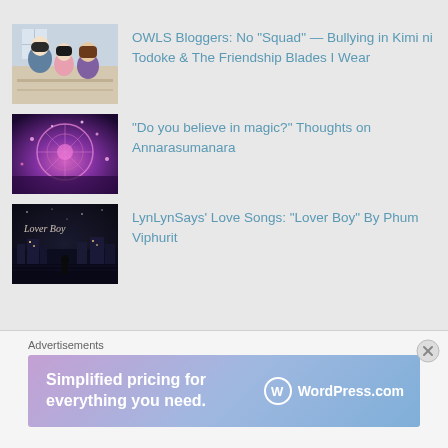[Figure (illustration): Anime scene thumbnail showing students in a classroom setting, Kimi ni Todoke]
OWLS Bloggers: No "Squad" — Bullying in Kimi ni Todoke & The Friendship Blades I Wear
[Figure (illustration): Anime fantasy scene thumbnail with purple/pink magical atmosphere, Annarasumanara]
"Do you believe in magic?" Thoughts on Annarasumanara
[Figure (illustration): Dark night scene thumbnail with cursive text 'Lover Boy', LynLynSays]
LynLynSays' Love Songs: "Lover Boy" By Phum Viphurit
Advertisements
[Figure (screenshot): WordPress.com advertisement banner: Simplified pricing for everything you need.]